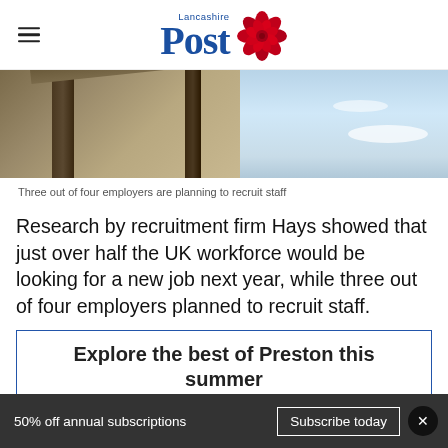Lancashire Post
[Figure (photo): Wooden beams against a blue sky background, angled structural elements visible]
Three out of four employers are planning to recruit staff
Research by recruitment firm Hays showed that just over half the UK workforce would be looking for a new job next year, while three out of four employers planned to recruit staff.
Explore the best of Preston this summer
50% off annual subscriptions   Subscribe today